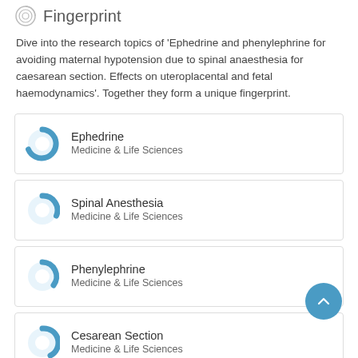Fingerprint
Dive into the research topics of 'Ephedrine and phenylephrine for avoiding maternal hypotension due to spinal anaesthesia for caesarean section. Effects on uteroplacental and fetal haemodynamics'. Together they form a unique fingerprint.
Ephedrine — Medicine & Life Sciences
Spinal Anesthesia — Medicine & Life Sciences
Phenylephrine — Medicine & Life Sciences
Cesarean Section — Medicine & Life Sciences
Hypotension — Medicine & Life Sciences (partial)